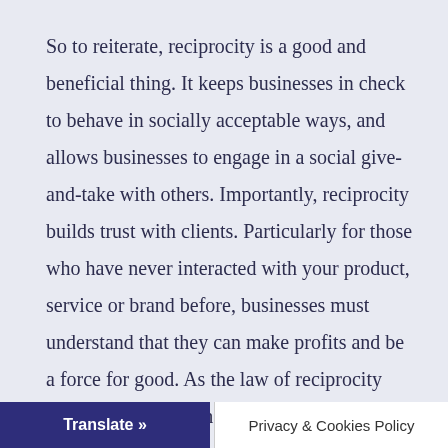So to reiterate, reciprocity is a good and beneficial thing. It keeps businesses in check to behave in socially acceptable ways, and allows businesses to engage in a social give-and-take with others. Importantly, reciprocity builds trust with clients. Particularly for those who have never interacted with your product, service or brand before, businesses must understand that they can make profits and be a force for good. As the law of reciprocity details, you establish your industry authority and demonstrate that your business has your customers' best interests at
Translate »   Privacy & Cookies Policy